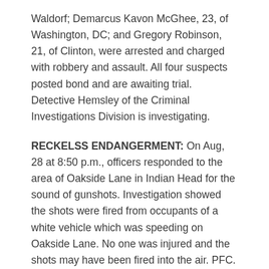Waldorf; Demarcus Kavon McGhee, 23, of Washington, DC; and Gregory Robinson, 21, of Clinton, were arrested and charged with robbery and assault. All four suspects posted bond and are awaiting trial. Detective Hemsley of the Criminal Investigations Division is investigating.
RECKELSS ENDANGERMENT: On Aug, 28 at 8:50 p.m., officers responded to the area of Oakside Lane in Indian Head for the sound of gunshots. Investigation showed the shots were fired from occupants of a white vehicle which was speeding on Oakside Lane. No one was injured and the shots may have been fired into the air. PFC. D. Raby is investigating.